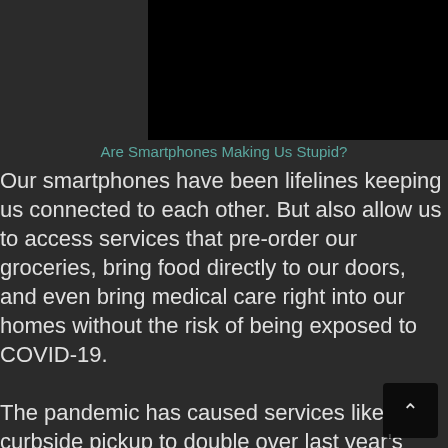[Figure (photo): Black video/image thumbnail area at the top of the page]
Are Smartphones Making Us Stupid?
Our smartphones have been lifelines keeping us connected to each other. But also allow us to access services that pre-order our groceries, bring food directly to our doors, and even bring medical care right into our homes without the risk of being exposed to COVID-19.
The pandemic has caused services like curbside pickup to double over last year’s numbers, and 59% of people who have been using it continue to do so after the pandemic subsides. In a single week, pizza orders spiked 44%, and 42% of customers planned to continue